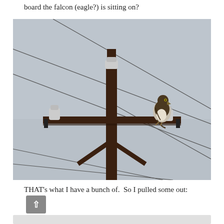board the falcon (eagle?) is sitting on?
[Figure (photo): Photograph of a bird (falcon or eagle) perched on the crossarm of a utility/power pole against a grey overcast sky. The wooden pole has cross-braces and electrical insulators. Multiple power lines run diagonally across the image.]
THAT's what I have a bunch of.  So I pulled some out: